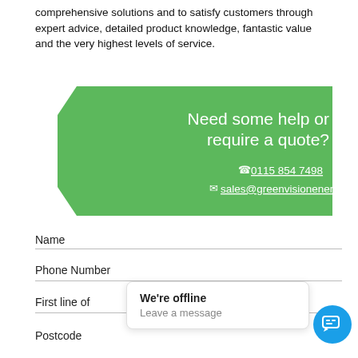comprehensive solutions and to satisfy customers through expert advice, detailed product knowledge, fantastic value and the very highest levels of service.
[Figure (infographic): Green call-to-action banner with angular left edge reading 'Need some help or require a quote?' with phone number 0115 854 7498 and email sales@greenvisionenergy.co.uk]
Name
Phone Number
First line of
Postcode
We're offline
Leave a message